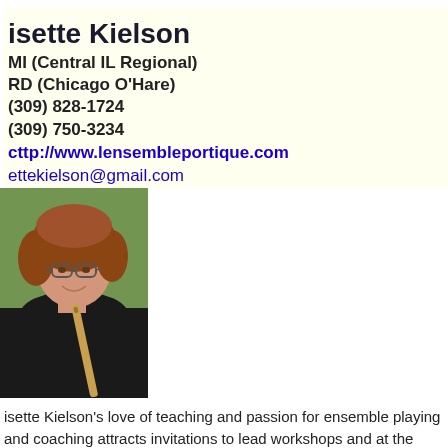isette Kielson
MI (Central IL Regional)
RD (Chicago O'Hare)
(309) 828-1724
(309) 750-3234
cttp://www.lensembleportique.com
ettekielson@gmail.com
[Figure (photo): Portrait photo of Isette Kielson, a woman with curly reddish-brown hair and glasses, wearing a black top, holding a wooden recorder flute, outdoors with green foliage background.]
isette Kielson's love of teaching and passion for ensemble playing and coaching attracts invitations to lead workshops and at the next teaching Holdable Bachelor and Master